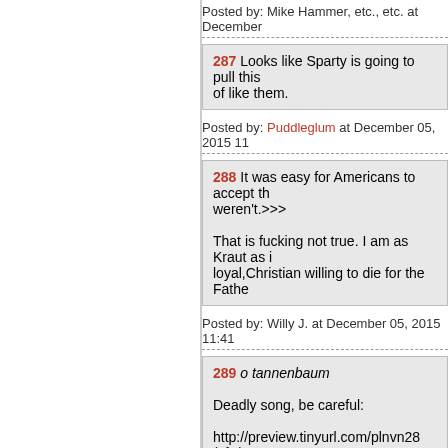Posted by: Mike Hammer, etc., etc. at December
287 Looks like Sparty is going to pull this of like them.
Posted by: Puddleglum at December 05, 2015 11
288 It was easy for Americans to accept th weren't.>>>

That is fucking not true. I am as Kraut as it loyal,Christian willing to die for the Fathe
Posted by: Willy J. at December 05, 2015 11:41
289 o tannenbaum

Deadly song, be careful:

http://preview.tinyurl.com/plnvn28 (sfw)
Posted by: Blanco Basura at December 05, 2015